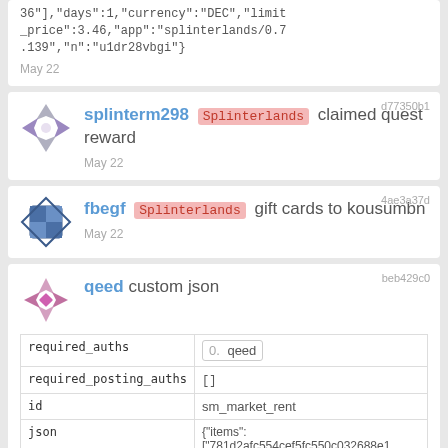36"],"days":1,"currency":"DEC","limit_price":3.46,"app":"splinterlands/0.7.139","n":"u1dr28vbgi"}
May 22
d77350b1
splinterm298 Splinterlands claimed quest reward
May 22
4ae3a37d
fbegf Splinterlands gift cards to kousumbn
May 22
beb429c0
qeed custom json
|  |  |
| --- | --- |
| required_auths | 0.  qeed |
| required_posting_auths | [] |
| id | sm_market_rent |
| json | {"items": ["781d2afc554cef5fc550c032688e19f3a099db56-0","3785f134c0094f6a9d47757d41f321b838ced385-10"],"days":1,"currency":"DEC" |